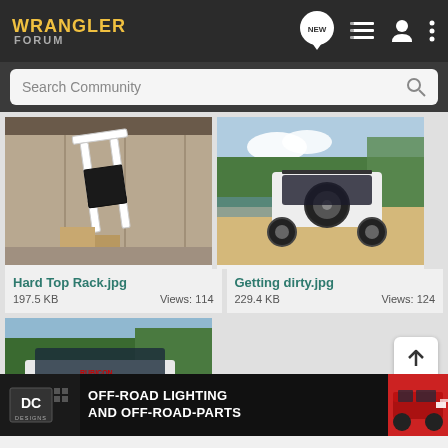Wrangler Forum
Search Community
[Figure (photo): Hard top rack leaning against wall in a warehouse or garage]
Hard Top Rack.jpg
197.5 KB    Views: 114
[Figure (photo): White Jeep Wrangler from behind on a sandy/dirt trail with trees and water in background]
Getting dirty.jpg
229.4 KB    Views: 124
[Figure (photo): White Jeep Wrangler with large tires on a dirt trail with trees]
dirty 2...
221.7 KB
OFF-ROAD LIGHTING AND OFF-ROAD-PARTS